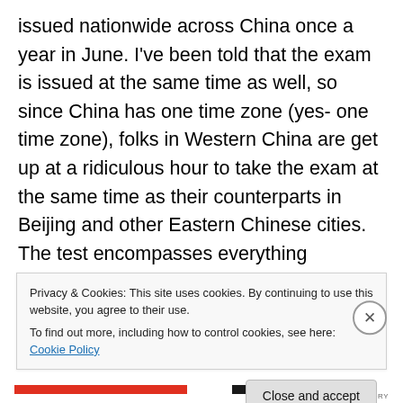issued nationwide across China once a year in June. I've been told that the exam is issued at the same time as well, so since China has one time zone (yes- one time zone), folks in Western China are get up at a ridiculous hour to take the exam at the same time as their counterparts in Beijing and other Eastern Chinese cities. The test encompasses everything students have learned since Kindergarten and includes mandatory tests in Chinese, math, and a foreign language (usually English in recent years but can also be French, Japanese or Russian). Other tests will include Chemistry, Physics, Biology,
Privacy & Cookies: This site uses cookies. By continuing to use this website, you agree to their use.
To find out more, including how to control cookies, see here: Cookie Policy